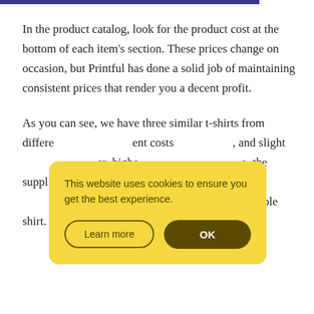In the product catalog, look for the product cost at the bottom of each item's section. These prices change on occasion, but Printful has done a solid job of maintaining consistent prices that render you a decent profit.
As you can see, we have three similar t-shirts from different [obscured by overlay]. They have slightly different costs [obscured], and slightly [obscured] higher [obscured], the suppl[obscured]. So, we re[obscured]ls to understand if it's a softer or more durable shirt.
[Figure (other): Cookie consent popup overlay with yellow background. Text reads 'This website uses cookies to ensure you get the best experience.' with two buttons: 'Learn more' (outlined) and 'OK' (dark filled).]